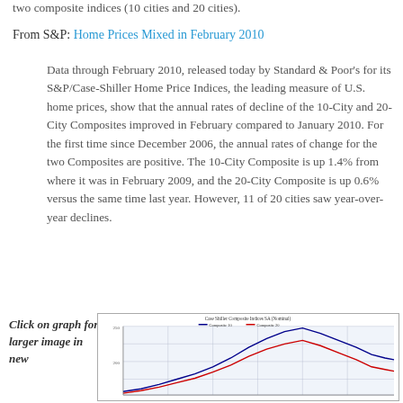two composite indices (10 cities and 20 cities).
From S&P: Home Prices Mixed in February 2010
Data through February 2010, released today by Standard & Poor's for its S&P/Case-Shiller Home Price Indices, the leading measure of U.S. home prices, show that the annual rates of decline of the 10-City and 20-City Composites improved in February compared to January 2010. For the first time since December 2006, the annual rates of change for the two Composites are positive. The 10-City Composite is up 1.4% from where it was in February 2009, and the 20-City Composite is up 0.6% versus the same time last year. However, 11 of 20 cities saw year-over-year declines.
Click on graph for larger image in new
[Figure (line-chart): Line chart showing Case Shiller Composite 10 (blue) and Composite 20 (red) indices over time, with values around 200-250 at peak]